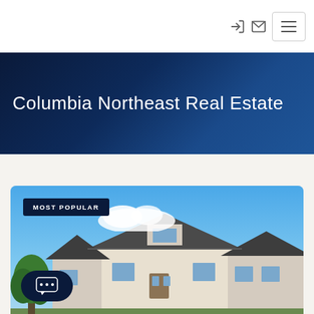Navigation bar with login icon, mail icon, and hamburger menu button
Columbia Northeast Real Estate
[Figure (photo): Real estate listing card with blue sky and white suburban house, labeled MOST POPULAR]
MOST POPULAR